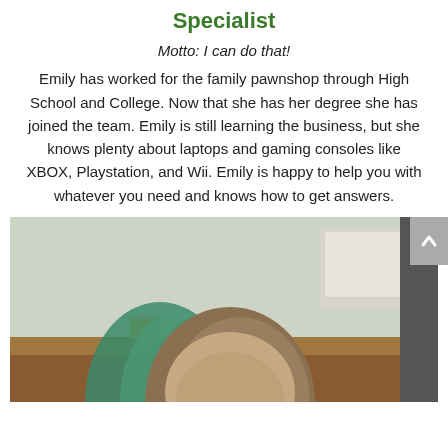Specialist
Motto: I can do that!
Emily has worked for the family pawnshop through High School and College. Now that she has her degree she has joined the team. Emily is still learning the business, but she knows plenty about laptops and gaming consoles like XBOX, Playstation, and Wii. Emily is happy to help you with whatever you need and knows how to get answers.
[Figure (photo): Photo of Emily, a young woman with teal-highlighted hair, photographed in what appears to be a pawnshop or office setting with equipment visible in the background.]